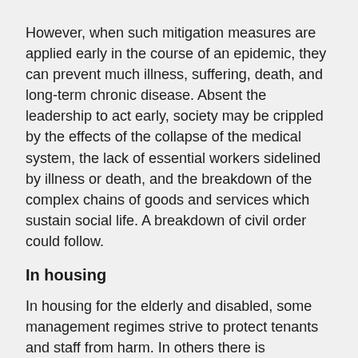However, when such mitigation measures are applied early in the course of an epidemic, they can prevent much illness, suffering, death, and long-term chronic disease. Absent the leadership to act early, society may be crippled by the effects of the collapse of the medical system, the lack of essential workers sidelined by illness or death, and the breakdown of the complex chains of goods and services which sustain social life. A breakdown of civil order could follow.
In housing
In housing for the elderly and disabled, some management regimes strive to protect tenants and staff from harm. In others there is indifference and incompetence.
The elements for success may include:
Landlord/management acts early and firmly to prevent the spread of infection. Gatherings may be